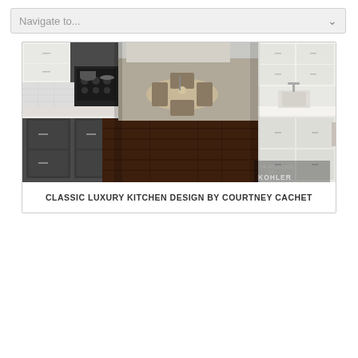Navigate to...
[Figure (photo): Classic luxury kitchen interior showing dark wood floors, white cabinetry, stainless steel appliances, a marble countertop island, dining area in background, and Kohler fixtures. The BOLD LOOK OF KOHLER branding appears in the bottom right corner.]
CLASSIC LUXURY KITCHEN DESIGN BY COURTNEY CACHET